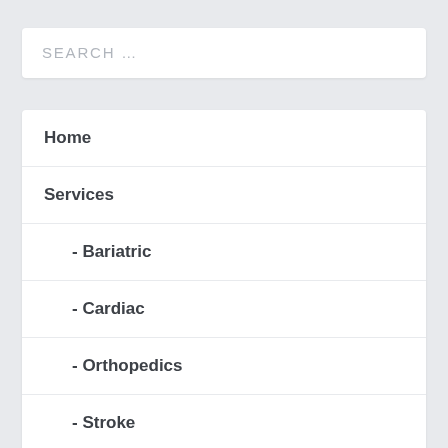SEARCH …
Home
Services
- Bariatric
- Cardiac
- Orthopedics
- Stroke
- WomenCare